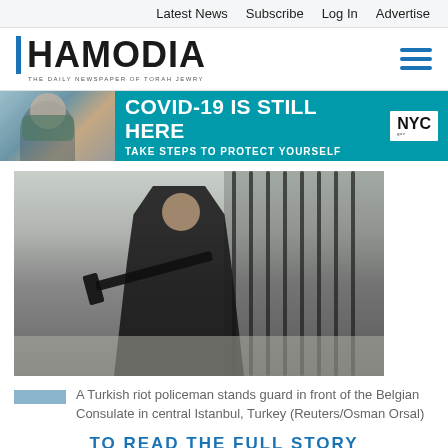Latest News  Subscribe  Log In  Advertise
[Figure (logo): Hamodia newspaper logo with blue vertical bar and tagline 'THE DAILY NEWSPAPER OF TORAH JEWRY']
[Figure (photo): NYC government COVID-19 banner advertisement: 'COVID-19 IS STILL HERE – TAKE STEPS TO PROTECT YOURSELF' with woman wearing mask and NYC logo]
[Figure (photo): A Turkish riot policeman in black tactical gear holding a rifle, standing guard in front of iron fence/gate with vertical bars]
A Turkish riot policeman stands guard in front of the Belgian Consulate in central Istanbul, Turkey (Reuters/Osman Orsal)
TO READ THE FULL STORY